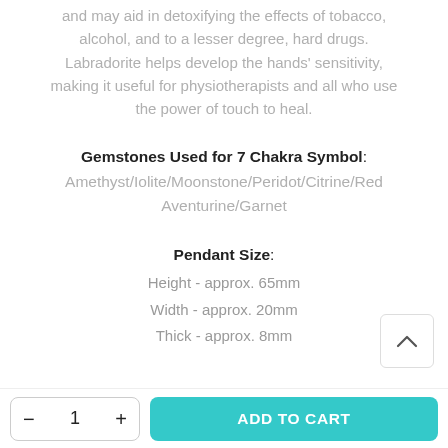and may aid in detoxifying the effects of tobacco, alcohol, and to a lesser degree, hard drugs. Labradorite helps develop the hands' sensitivity, making it useful for physiotherapists and all who use the power of touch to heal.
Gemstones Used for 7 Chakra Symbol: Amethyst/Iolite/Moonstone/Peridot/Citrine/Red Aventurine/Garnet
Pendant Size: Height - approx. 65mm Width - approx. 20mm Thick - approx. 8mm